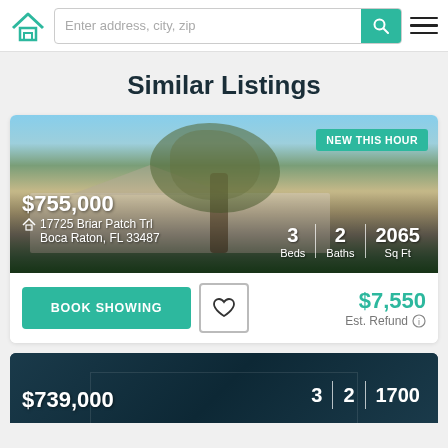[Figure (screenshot): App header with home logo, search bar reading 'Enter address, city, zip', teal search button, and hamburger menu]
Similar Listings
[Figure (photo): Listing card photo of a single-story home with large tree in front yard, Boca Raton FL. Badge: NEW THIS HOUR. Price: $755,000. Address: 17725 Briar Patch Trl, Boca Raton, FL 33487. Specs: 3 Beds | 2 Baths | 2065 Sq Ft]
[Figure (screenshot): Card action row: BOOK SHOWING button, heart/favorite button, $7,550 Est. Refund]
[Figure (photo): Partial second listing card with dark teal background. Price: $739,000. Specs: 3 | 2 | 1700 (partially visible)]